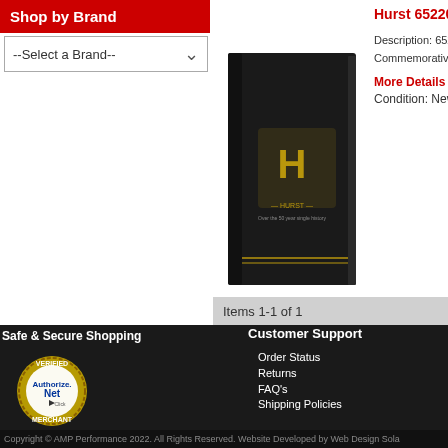Shop by Brand
--Select a Brand--
Hurst 652206 H
Description: 652206 Commemorative Ed
More Details »
Condition: New
[Figure (photo): Product image of a black book/box with gold Hurst logo on the cover]
Items 1-1 of 1
Safe & Secure Shopping
Customer Support
Order Status
Returns
FAQ's
Shipping Policies
Return Policies
Privacy
Site Map
[Figure (logo): Authorize.Net Verified Merchant seal badge in gold/blue]
Copyright © AMP Performance 2022. All Rights Reserved. Website Developed by Web Design Sola